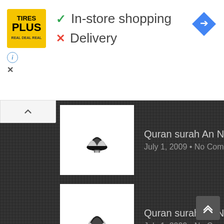[Figure (screenshot): Tires Plus store logo — yellow square with 'TIRES PLUS' text in black]
✓ In-store shopping
✗ Delivery
[Figure (logo): Blue diamond navigation/directions icon]
Quran surah An Nas 3 (QS 114: ... — July 1, 2009 • No Comments
Quran surah An Nas 2 (QS 114: ... — July 1, 2009 • No Comments
Quran surah An Nas 1 (QS 114: ... — July 1, 2009 • No Comments
Quran surah Al Falaq 5 (QS 113: ... — July 1, 2009 • 1 Comment